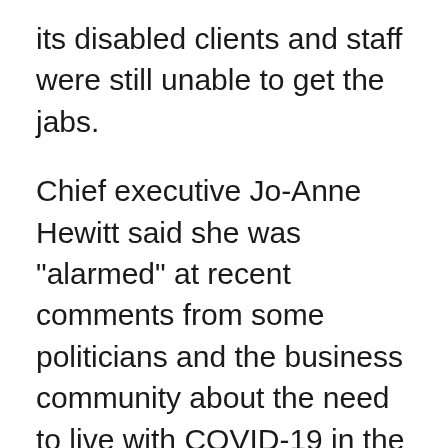its disabled clients and staff were still unable to get the jabs.
Chief executive Jo-Anne Hewitt said she was "alarmed" at recent comments from some politicians and the business community about the need to live with COVID-19 in the community.
"I do understand that opening up the economy is incredibly important but people with disabilities deserve...